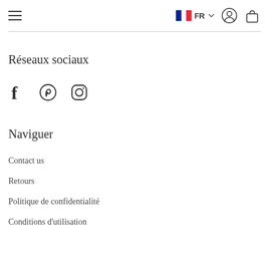≡  FR  [user icon] [bag icon]
Réseaux sociaux
[Figure (other): Social media icons: Facebook, Pinterest, Instagram]
Naviguer
Contact us
Retours
Politique de confidentialité
Conditions d'utilisation